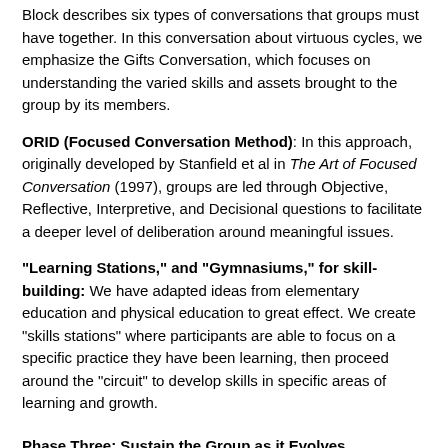Block describes six types of conversations that groups must have together. In this conversation about virtuous cycles, we emphasize the Gifts Conversation, which focuses on understanding the varied skills and assets brought to the group by its members.
ORID (Focused Conversation Method): In this approach, originally developed by Stanfield et al in The Art of Focused Conversation (1997), groups are led through Objective, Reflective, Interpretive, and Decisional questions to facilitate a deeper level of deliberation around meaningful issues.
“Learning Stations,” and “Gymnasiums,” for skill-building: We have adapted ideas from elementary education and physical education to great effect. We create “skills stations” where participants are able to focus on a specific practice they have been learning, then proceed around the “circuit” to develop skills in specific areas of learning and growth.
Phase Three: Sustain the Group as it Evolves